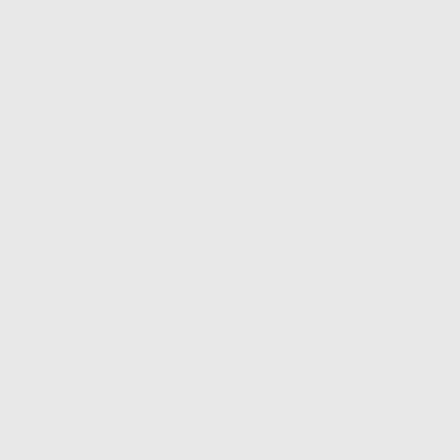anti gun bec he has no othe noti idea to offe sinc tho idea wo offe his wife oil ban fam
[Figure (illustration): Red banner/flag with orange heraldic lion rampant on dark red background — user avatar for Santheres]
QUOTE by Santheres » Sat May
Santheres
Game Moderator